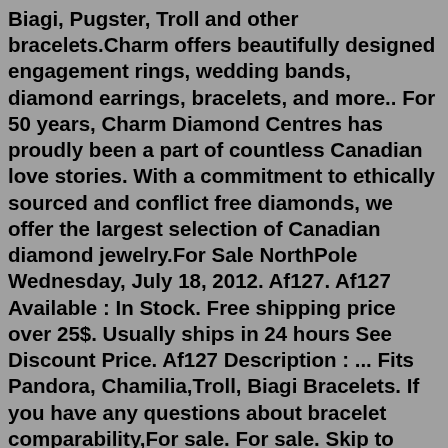Biagi, Pugster, Troll and other bracelets.Charm offers beautifully designed engagement rings, wedding bands, diamond earrings, bracelets, and more.. For 50 years, Charm Diamond Centres has proudly been a part of countless Canadian love stories. With a commitment to ethically sourced and conflict free diamonds, we offer the largest selection of Canadian diamond jewelry.For Sale NorthPole Wednesday, July 18, 2012. Af127. Af127 Available : In Stock. Free shipping price over 25$. Usually ships in 24 hours See Discount Price. Af127 Description : ... Fits Pandora, Chamilia,Troll, Biagi Bracelets. If you have any questions about bracelet comparability,For sale. For sale. Skip to main content. Shop by category. Shop by category. Enter your search keyword. Advanced ... Fine Bracelets & Charms; Share ... Jewellery industry reacts to Chamilia exit. Chamilia's imminent departure from the Australia and New Zealand jewellery market has left the industry in a mixed state of shock, apprehension and optimism. As reported by Jeweller, last month the and following announcements